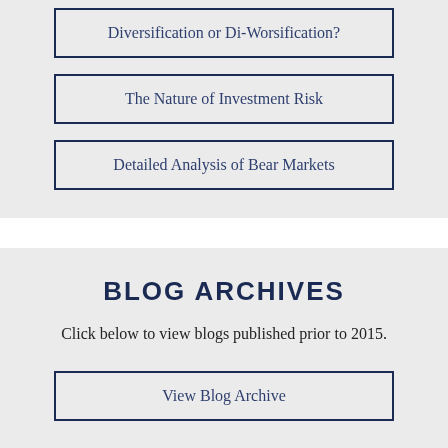Diversification or Di-Worsification?
The Nature of Investment Risk
Detailed Analysis of Bear Markets
BLOG ARCHIVES
Click below to view blogs published prior to 2015.
View Blog Archive
[Figure (logo): Moon Capital logo with crescent moon symbol between MOON and CAPITAL text]